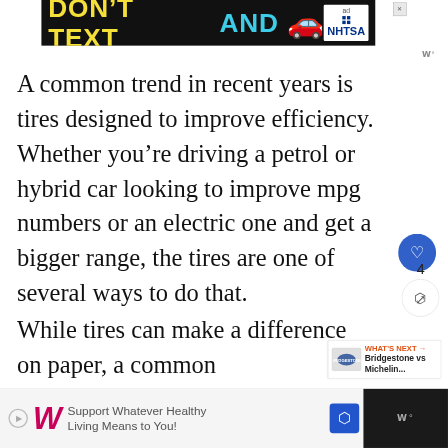[Figure (other): Top advertisement banner: black background with yellow 'DON'T TEXT' and cyan 'AND' text, red car emoji, NHTSA ad logo. X close button in top right corner.]
A common trend in recent years is tires designed to improve efficiency. Whether you’re driving a petrol or hybrid car looking to improve mpg numbers or an electric one and get a bigger range, the tires are one of several ways to do that.
While tires can make a difference on paper, a common misconception is that they wonders. You will see some improvements,
[Figure (other): Bottom advertisement banner: Walgreens logo with italic W, text 'Support Whatever Healthy Living Means to You!' with navigation arrow icon. Dark overlay on right side.]